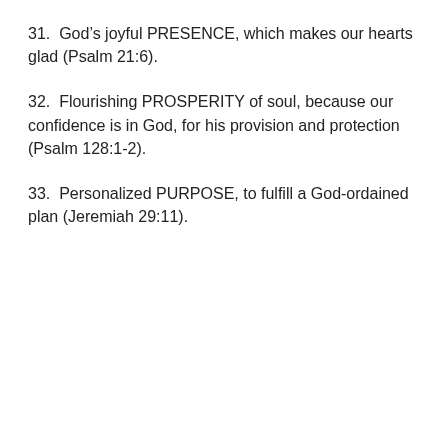31.  God’s joyful PRESENCE, which makes our hearts glad (Psalm 21:6).
32.  Flourishing PROSPERITY of soul, because our confidence is in God, for his provision and protection (Psalm 128:1-2).
33.  Personalized PURPOSE, to fulfill a God-ordained plan (Jeremiah 29:11).